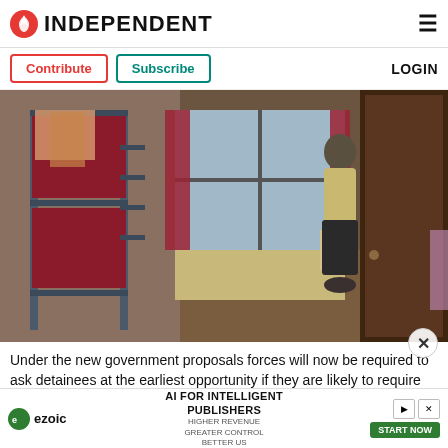INDEPENDENT
Contribute  Subscribe  LOGIN
[Figure (photo): Interior of a shared detention cell with bunk beds on the left, a person standing at a window in the background, and a dark wooden wardrobe on the right. Red curtains and a radiator are visible near the window.]
Under the new government proposals forces will now be required to ask detainees at the earliest opportunity if they are likely to require sanitary products while in custody (PA)
[Figure (other): Ezoic advertisement banner: AI FOR INTELLIGENT PUBLISHERS with ezoic logo and Start Now button]